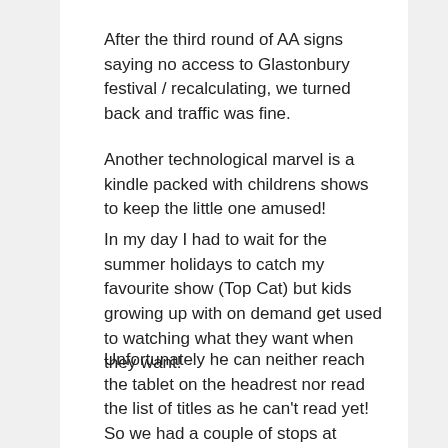After the third round of AA signs saying no access to Glastonbury festival / recalculating, we turned back and traffic was fine.
Another technological marvel is a kindle packed with childrens shows to keep the little one amused!
In my day I had to wait for the summer holidays to catch my favourite show (Top Cat) but kids growing up with on demand get used to watching what they want when they want!
Unfortunately he can neither reach the tablet on the headrest nor read the list of titles as he can't read yet! So we had a couple of stops at services to change show!
I had looked at all sorts of solutions so that I could change show from the front, from running a monitor